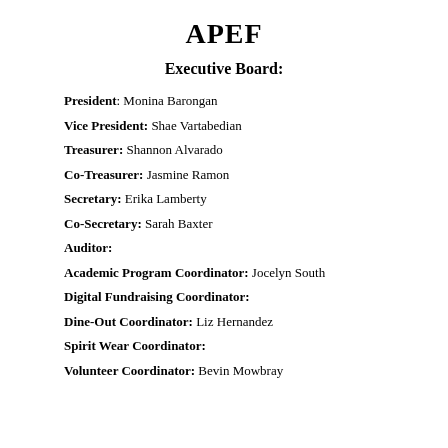APEF
Executive Board:
President: Monina Barongan
Vice President: Shae Vartabedian
Treasurer: Shannon Alvarado
Co-Treasurer: Jasmine Ramon
Secretary: Erika Lamberty
Co-Secretary: Sarah Baxter
Auditor:
Academic Program Coordinator: Jocelyn South
Digital Fundraising Coordinator:
Dine-Out Coordinator: Liz Hernandez
Spirit Wear Coordinator:
Volunteer Coordinator: Bevin Mowbray